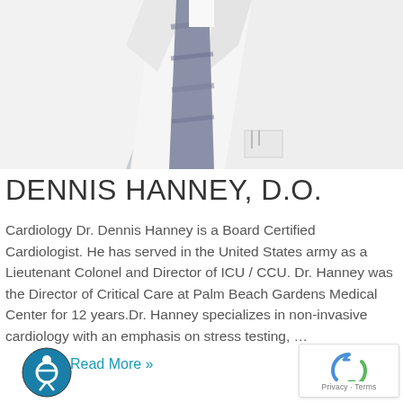[Figure (photo): Torso of a doctor in a white coat with a striped tie, cropped at the chest/shoulder area]
DENNIS HANNEY, D.O.
Cardiology Dr. Dennis Hanney is a Board Certified Cardiologist. He has served in the United States army as a Lieutenant Colonel and Director of ICU / CCU. Dr. Hanney was the Director of Critical Care at Palm Beach Gardens Medical Center for 12 years.Dr. Hanney specializes in non-invasive cardiology with an emphasis on stress testing, …
Read More »